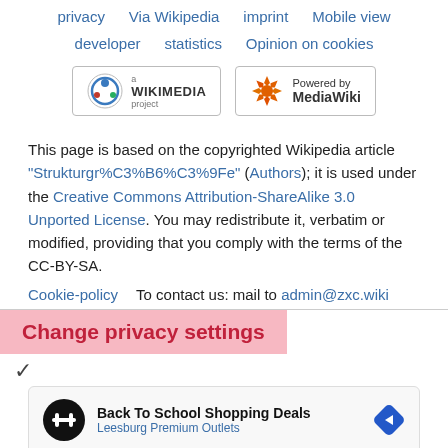privacy   Via Wikipedia   imprint   Mobile view
developer   statistics   Opinion on cookies
[Figure (logo): Wikimedia project logo badge]
[Figure (logo): Powered by MediaWiki badge]
This page is based on the copyrighted Wikipedia article "Strukturgr%C3%B6%C3%9Fe" (Authors); it is used under the Creative Commons Attribution-ShareAlike 3.0 Unported License. You may redistribute it, verbatim or modified, providing that you comply with the terms of the CC-BY-SA.
Cookie-policy      To contact us: mail to admin@zxc.wiki
Change privacy settings
[Figure (screenshot): Advertisement: Back To School Shopping Deals - Leesburg Premium Outlets]